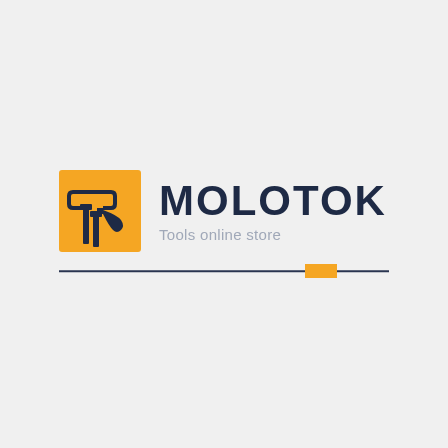[Figure (logo): MOLOTOK Tools online store logo. Orange square icon with dark blue hammer and nails silhouette, next to bold dark blue text 'MOLOTOK' with tagline 'Tools online store' in gray. Below is a dark horizontal line with an orange rectangle accent near the right side.]